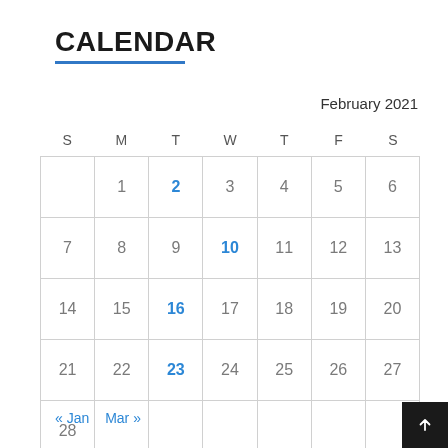CALENDAR
February 2021
| S | M | T | W | T | F | S |
| --- | --- | --- | --- | --- | --- | --- |
|  | 1 | 2 | 3 | 4 | 5 | 6 |
| 7 | 8 | 9 | 10 | 11 | 12 | 13 |
| 14 | 15 | 16 | 17 | 18 | 19 | 20 |
| 21 | 22 | 23 | 24 | 25 | 26 | 27 |
| 28 |  |  |  |  |  |  |
« Jan   Mar »